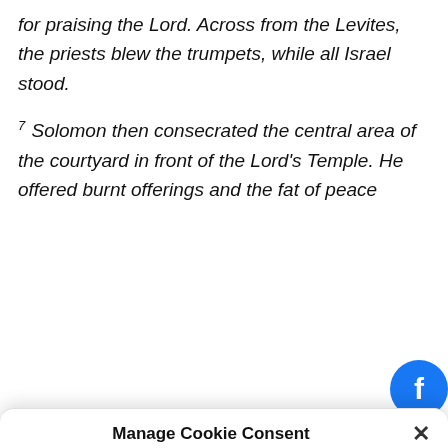for praising the Lord. Across from the Levites, the priests blew the trumpets, while all Israel stood.
7 Solomon then consecrated the central area of the courtyard in front of the Lord's Temple. He offered burnt offerings and the fat of peace
Manage Cookie Consent
To provide the best experiences, we use technologies like cookies to store and/or access device information. Consenting to these technologies will allow us to process data such as browsing behavior or unique IDs on this site. Not consenting or withdrawing consent, may adversely affect certain features and functions.
Accept
English
kie Policy